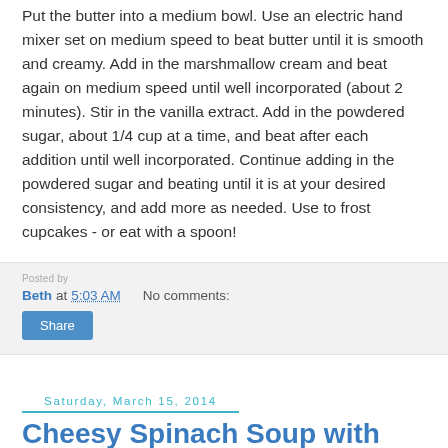Put the butter into a medium bowl. Use an electric hand mixer set on medium speed to beat butter until it is smooth and creamy. Add in the marshmallow cream and beat again on medium speed until well incorporated (about 2 minutes). Stir in the vanilla extract. Add in the powdered sugar, about 1/4 cup at a time, and beat after each addition until well incorporated. Continue adding in the powdered sugar and beating until it is at your desired consistency, and add more as needed. Use to frost cupcakes - or eat with a spoon!
Beth at 5:03 AM    No comments:
Share
Saturday, March 15, 2014
Cheesy Spinach Soup with Potato (a fun soup for St. Patrick's Day)!
[Figure (photo): Top portion of a decorative bowl with blue floral pattern on white background, partially visible]